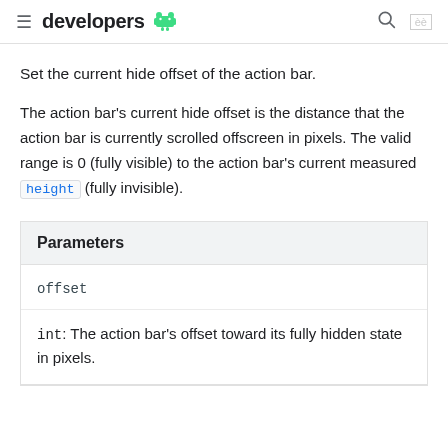developers
Set the current hide offset of the action bar.
The action bar's current hide offset is the distance that the action bar is currently scrolled offscreen in pixels. The valid range is 0 (fully visible) to the action bar's current measured height (fully invisible).
| Parameters |
| --- |
| offset |
| int: The action bar's offset toward its fully hidden state in pixels. |